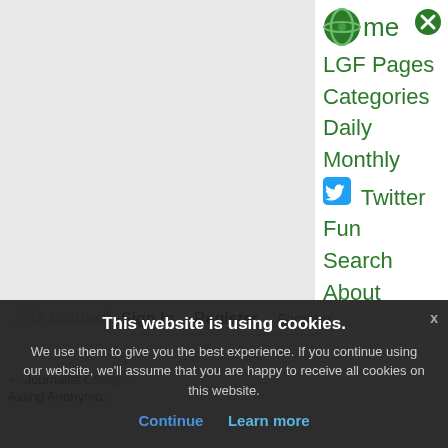[Figure (screenshot): Website navigation sidebar with logo, menu items in green, and a cookie consent overlay]
Home
LGF Pages
Categories
Daily
Monthly
Twitter
Fun
Search
About
Sign In · Register · Forgot passw
← Journalist Charged with Aiding Anonymo...
This website is using cookies. We use them to give you the best experience. If you continue using our website, we'll assume that you are happy to receive all cookies on this website.
Continue   Learn more